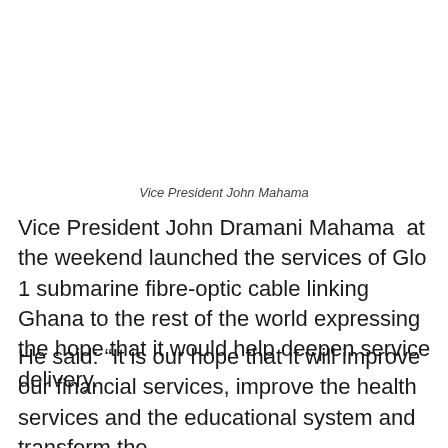Vice President John Mahama
Vice President John Dramani Mahama  at the weekend launched the services of Glo 1 submarine fibre-optic cable linking Ghana to the rest of the world expressing the hope that it would help deepen service delivery.
He said: “It is our hope that it will improve our financial services, improve the health services and the educational system and transform the